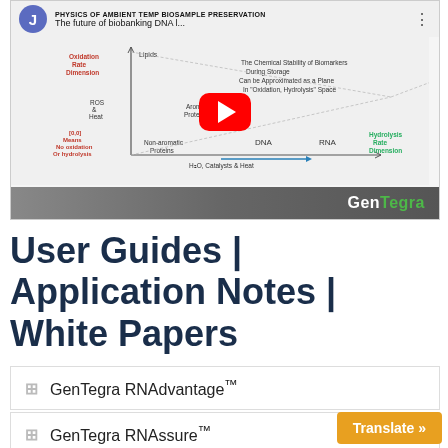[Figure (screenshot): YouTube video thumbnail showing 'Physics of Ambient Temp Biosample Preservation - The future of biobanking DNA...' with a diagram of chemical stability of biomarkers in oxidation/hydrolysis space, showing Lipids, ROS & Heat, Aromatic Proteins, Non-aromatic Proteins, DNA, RNA plotted on axes. A red YouTube play button is centered. GenTegra logo appears in gray bottom bar.]
User Guides | Application Notes | White Papers
GenTegra RNAdvantage™
GenTegra RNAssure™